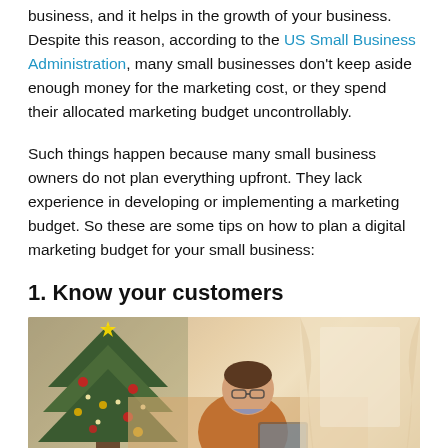business, and it helps in the growth of your business. Despite this reason, according to the US Small Business Administration, many small businesses don't keep aside enough money for the marketing cost, or they spend their allocated marketing budget uncontrollably.
Such things happen because many small business owners do not plan everything upfront. They lack experience in developing or implementing a marketing budget. So these are some tips on how to plan a digital marketing budget for your small business:
1. Know your customers
[Figure (photo): A man sitting on a couch working on a laptop, with a Christmas tree decorated with ornaments on the left side and a bright window on the right side, in a warm home setting.]